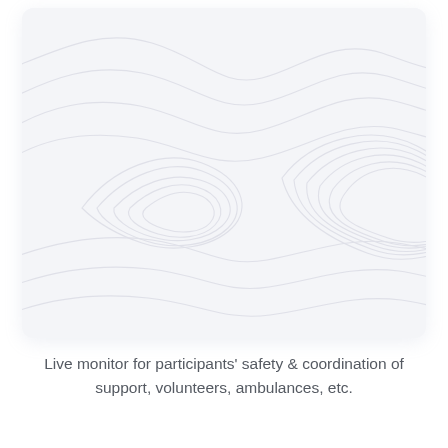[Figure (map): A topographic-style map with contour lines shown in light gray on a pale grayish-white background, displayed inside a rounded-corner card with a subtle drop shadow. No markers or labels are visible.]
Live monitor for participants' safety & coordination of support, volunteers, ambulances, etc.